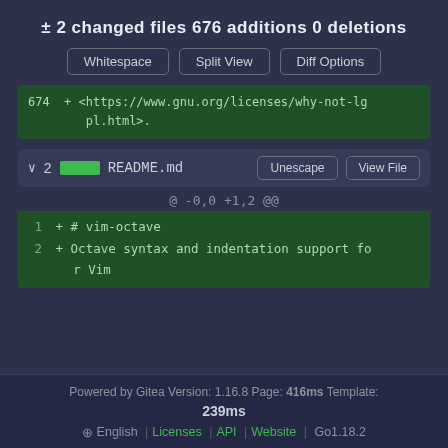± 2 changed files 676 additions 0 deletions
[Figure (screenshot): Three buttons: Whitespace, Split View, Diff Options]
674 + <https://www.gnu.org/licenses/why-not-lgpl.html>.
∨ 2 ███ README.md  [Unescape] [View File]
@ -0,0 +1,2 @@
1 + # vim-octave
2 + Octave syntax and indentation support for Vim
Powered by Gitea Version: 1.16.8 Page: 416ms Template: 239ms
⊕ English | Licenses | API | Website | Go1.18.2